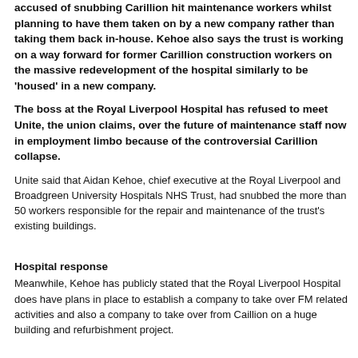accused of snubbing Carillion hit maintenance workers whilst planning to have them taken on by a new company rather than taking them back in-house. Kehoe also says the trust is working on a way forward for former Carillion construction workers on the massive redevelopment of the hospital similarly to be 'housed' in a new company.
The boss at the Royal Liverpool Hospital has refused to meet Unite, the union claims, over the future of maintenance staff now in employment limbo because of the controversial Carillion collapse.
Unite said that Aidan Kehoe, chief executive at the Royal Liverpool and Broadgreen University Hospitals NHS Trust, had snubbed the more than 50 workers responsible for the repair and maintenance of the trust's existing buildings.
Hospital response
Meanwhile, Kehoe has publicly stated that the Royal Liverpool Hospital does have plans in place to establish a company to take over FM related activities and also a company to take over from Caillion on a huge building and refurbishment project.